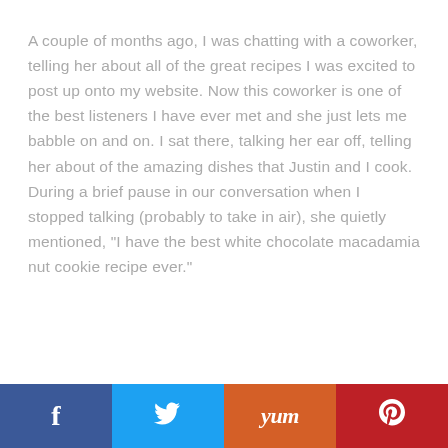A couple of months ago, I was chatting with a coworker, telling her about all of the great recipes I was excited to post up onto my website.  Now this coworker is one of the best listeners I have ever met and she just lets me babble on and on.  I sat there, talking her ear off, telling her about of the amazing dishes that Justin and I cook.  During a brief pause in our conversation when I stopped talking (probably to take in air), she quietly mentioned, "I have the best white chocolate macadamia nut cookie recipe ever."
[Figure (other): Social sharing bar with four buttons: Facebook (blue), Twitter (light blue), Yum (orange), Pinterest (red)]